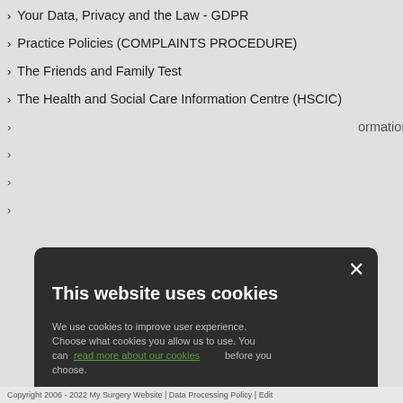Your Data, Privacy and the Law - GDPR
Practice Policies (COMPLAINTS PROCEDURE)
The Friends and Family Test
The Health and Social Care Information Centre (HSCIC)
...ormation
[Figure (screenshot): Cookie consent modal dialog with dark background. Title: 'This website uses cookies'. Body text: 'We use cookies to improve user experience. Choose what cookies you allow us to use. You can read more about our cookies before you choose.' Checkboxes: STRICTLY NECESSARY (checked), PERFORMANCE (unchecked), TARGETING (unchecked), FUNCTIONALITY (unchecked). Buttons: ACCEPT ALL (green), DECLINE ALL (outlined white).]
Copyright 2006 - 2022 My Surgery Website | Data Processing Policy | Edit